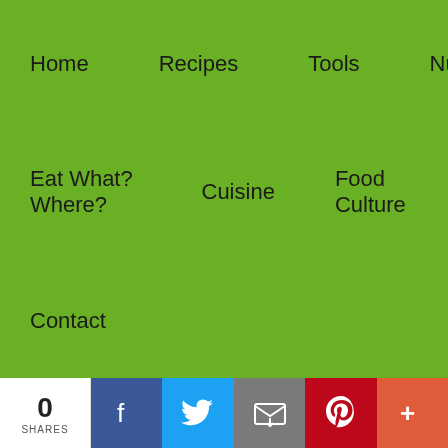Home
Recipes
Tools
Nutrition
Eat What? Where?
Cuisine
Food Culture
Contact
[Figure (photo): Partial thumbnail of a person, partially visible]
10 Best Dishwasher Sds
October 18, 2019
[Figure (photo): Gray scale image of a countertop dishwasher]
10 Best Edgestar Portable Dishwashers
October 17, 2019
[Figure (photo): Dark image of a portable dishwasher interior]
0
SHARES